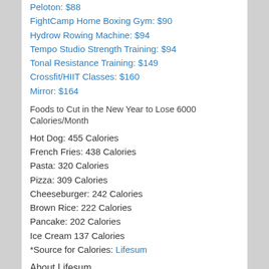Peloton: $88
FightCamp Home Boxing Gym: $90
Hydrow Rowing Machine: $94
Tempo Studio Strength Training: $94
Tonal Resistance Training: $149
Crossfit/HIIT Classes: $160
Mirror: $164
Foods to Cut in the New Year to Lose 6000 Calories/Month
Hot Dog: 455 Calories
French Fries: 438 Calories
Pasta: 320 Calories
Pizza: 309 Calories
Cheeseburger: 242 Calories
Brown Rice: 222 Calories
Pancake: 202 Calories
Ice Cream 137 Calories
*Source for Calories: Lifesum
About Lifesum
The nutrition app, Lifesum, is the fastest growing weight loss and health program with more than 45 million users. The nutrition program creates personalized plans for users to help them achieve their wellness goals, whether that be to get more fit, lose weight, or adopt a healthier lifestyle. For more and